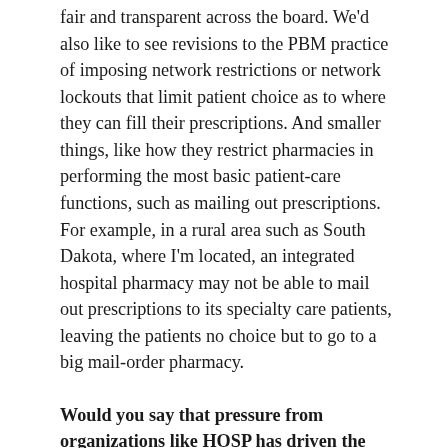fair and transparent across the board. We'd also like to see revisions to the PBM practice of imposing network restrictions or network lockouts that limit patient choice as to where they can fill their prescriptions. And smaller things, like how they restrict pharmacies in performing the most basic patient-care functions, such as mailing out prescriptions. For example, in a rural area such as South Dakota, where I'm located, an integrated hospital pharmacy may not be able to mail out prescriptions to its specialty care patients, leaving the patients no choice but to go to a big mail-order pharmacy.
Would you say that pressure from organizations like HOSP has driven the FTC to take this action?
We're a relatively new organization, but this is certainly one of our top advocacy priorities. But we've seen a lot of changes, organizations, and organizations